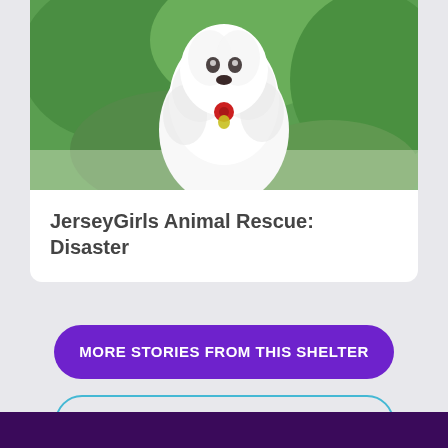[Figure (photo): A fluffy white dog with a red tag, photographed outdoors against a green leafy background. The dog appears to be looking at the camera.]
JerseyGirls Animal Rescue: Disaster
MORE STORIES FROM THIS SHELTER
MORE STORIES FROM THIS GRANT